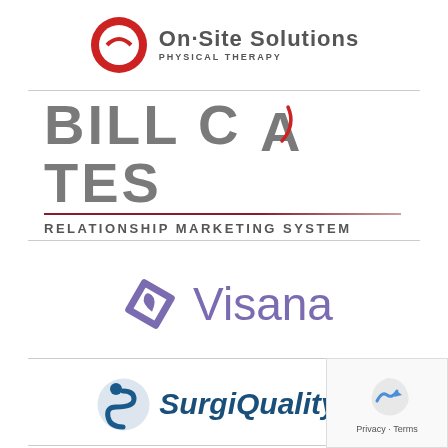[Figure (logo): On-Site Solutions Physical Therapy logo with red circle icon and gray text]
[Figure (logo): Bill Cates Relationship Marketing System logo in gray with red accent arc on the A]
[Figure (logo): Visana logo with purple heart-diamond icon and purple text]
[Figure (logo): SurgiQuality logo with blue swirl icon and dark blue italic text with trademark symbol]
[Figure (other): Google reCAPTCHA widget overlay in bottom right corner with Privacy and Terms text]